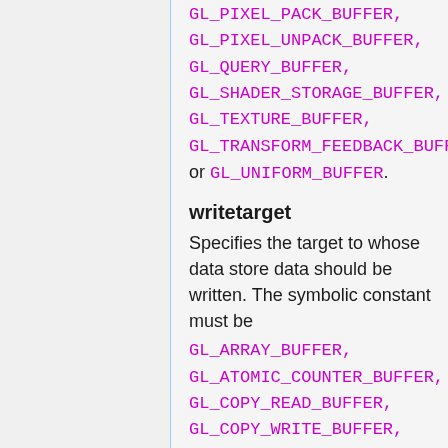GL_PIXEL_PACK_BUFFER,
GL_PIXEL_UNPACK_BUFFER,
GL_QUERY_BUFFER,
GL_SHADER_STORAGE_BUFFER,
GL_TEXTURE_BUFFER,
GL_TRANSFORM_FEEDBACK_BUFFER,
or GL_UNIFORM_BUFFER.
writetarget
Specifies the target to whose data store data should be written. The symbolic constant must be
GL_ARRAY_BUFFER,
GL_ATOMIC_COUNTER_BUFFER,
GL_COPY_READ_BUFFER,
GL_COPY_WRITE_BUFFER,
GL_DRAW_INDIRECT_BUFFER,
GL_DISPATCH_INDIRECT_BUFFER,
GL_ELEMENT_ARRAY_BUFFER,
GL_PIXEL_PACK_BUFFER,